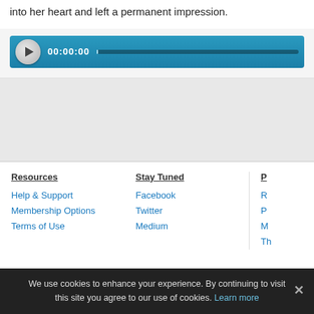into her heart and left a permanent impression.
[Figure (other): Audio player widget with play button, time display showing 00:00:00, and a progress bar on a blue gradient background.]
Resources
Help & Support
Membership Options
Terms of Use
Stay Tuned
Facebook
Twitter
Medium
P
R
P
M
Th
We use cookies to enhance your experience. By continuing to visit this site you agree to our use of cookies. Learn more